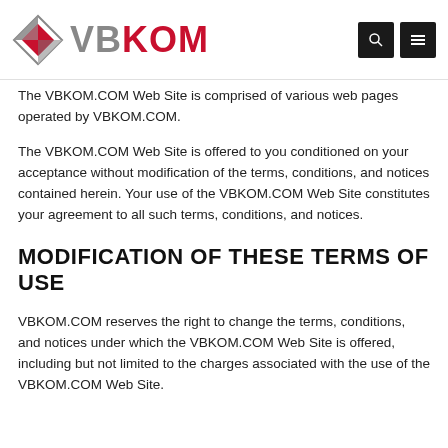VBKOM
The VBKOM.COM Web Site is comprised of various web pages operated by VBKOM.COM.
The VBKOM.COM Web Site is offered to you conditioned on your acceptance without modification of the terms, conditions, and notices contained herein. Your use of the VBKOM.COM Web Site constitutes your agreement to all such terms, conditions, and notices.
MODIFICATION OF THESE TERMS OF USE
VBKOM.COM reserves the right to change the terms, conditions, and notices under which the VBKOM.COM Web Site is offered, including but not limited to the charges associated with the use of the VBKOM.COM Web Site.